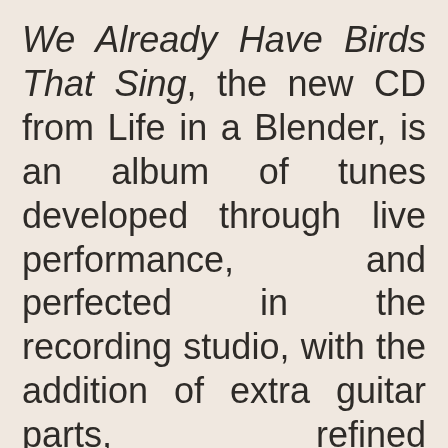We Already Have Birds That Sing, the new CD from Life in a Blender, is an album of tunes developed through live performance, and perfected in the recording studio, with the addition of extra guitar parts, refined arrangements for the resident strings, and a hard-hitting horn section of guest artists.

But the blood and guts of each